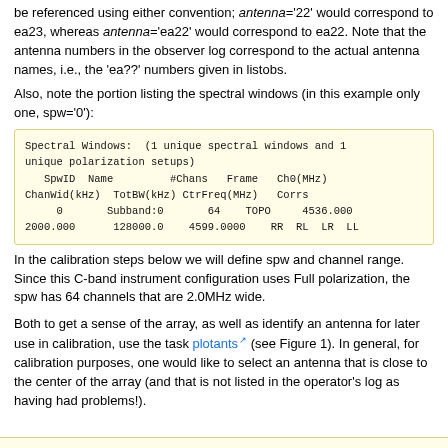be referenced using either convention; antenna='22' would correspond to ea23, whereas antenna='ea22' would correspond to ea22. Note that the antenna numbers in the observer log correspond to the actual antenna names, i.e., the 'ea??' numbers given in listobs.
Also, note the portion listing the spectral windows (in this example only one, spw='0'):
Spectral Windows:  (1 unique spectral windows and 1 unique polarization setups)
   SpwID  Name         #Chans   Frame   Ch0(MHz)   ChanWid(kHz)  TotBW(kHz) CtrFreq(MHz)  Corrs
     0       Subband:0       64    TOPO     4536.000
2000.000      128000.0    4599.0000    RR  RL  LR  LL
In the calibration steps below we will define spw and channel range. Since this C-band instrument configuration uses Full polarization, the spw has 64 channels that are 2.0MHz wide.
Both to get a sense of the array, as well as identify an antenna for later use in calibration, use the task plotants (see Figure 1). In general, for calibration purposes, one would like to select an antenna that is close to the center of the array (and that is not listed in the operator's log as having had problems!).